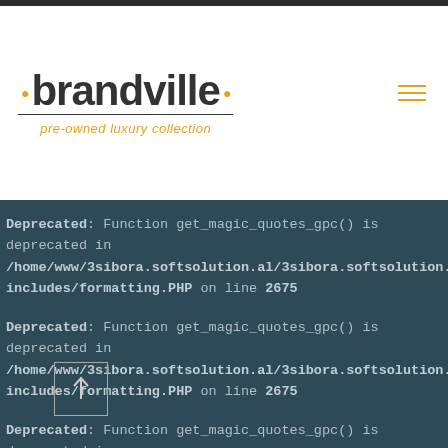[Figure (logo): Brandville pre-owned luxury collection logo with orange dots and tagline]
Deprecated: Function get_magic_quotes_gpc() is deprecated in /home/www/3sibora.softsolution.al/3sibora.softsolution.al/wp-includes/formatting.PHP on line 2675
Deprecated: Function get_magic_quotes_gpc() is deprecated in /home/www/3sibora.softsolution.al/3sibora.softsolution.al/wp-includes/formatting.PHP on line 2675
Deprecated: Function get_magic_quotes_gpc() is deprecated in /home/www/3sibora.softsolution.al/3sibora.softsolution.al/wp-includes/formatting.PHP on line 4768